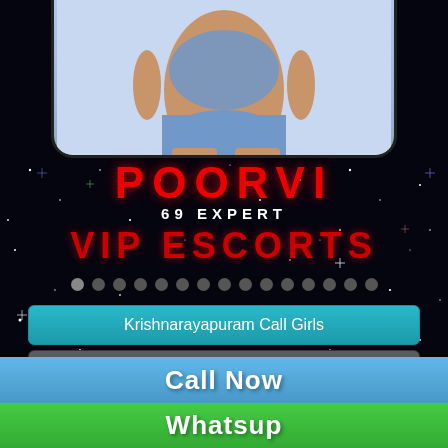[Figure (photo): Person in light blue swimsuit, lower body visible, inside a rounded phone frame]
POORVI
69 EXPERT
VIP ESCORTS
[Figure (other): Row of circular dots/pagination indicators]
Krishnarayapuram Call Girls
Krishnarayapuram Model Escorts
Krishnarayapuram Housewife Escorts
Call Now
Whatsup